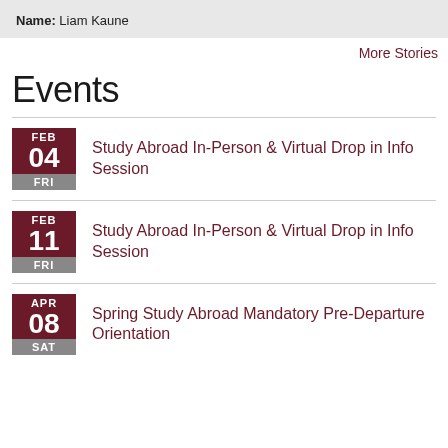Name: Liam Kaune
More Stories
Events
FEB 04 FRI — Study Abroad In-Person & Virtual Drop in Info Session
FEB 11 FRI — Study Abroad In-Person & Virtual Drop in Info Session
APR 08 SAT — Spring Study Abroad Mandatory Pre-Departure Orientation